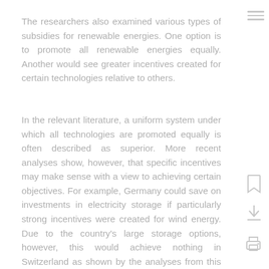The researchers also examined various types of subsidies for renewable energies. One option is to promote all renewable energies equally. Another would see greater incentives created for certain technologies relative to others.
In the relevant literature, a uniform system under which all technologies are promoted equally is often described as superior. More recent analyses show, however, that specific incentives may make sense with a view to achieving certain objectives. For example, Germany could save on investments in electricity storage if particularly strong incentives were created for wind energy. Due to the country's large storage options, however, this would achieve nothing in Switzerland as shown by the analyses from this project.